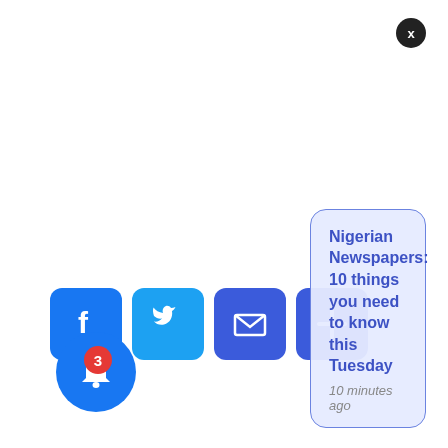[Figure (screenshot): Social share icons: Facebook (blue f), Twitter (blue bird), Email (blue envelope), More (blue plus sign)]
[Figure (screenshot): Notification bell icon (blue circle) with red badge showing count 3]
[Figure (screenshot): Push notification toast with close button (X), title 'Nigerian Newspapers: 10 things you need to know this Tuesday', timestamp '10 minutes ago']